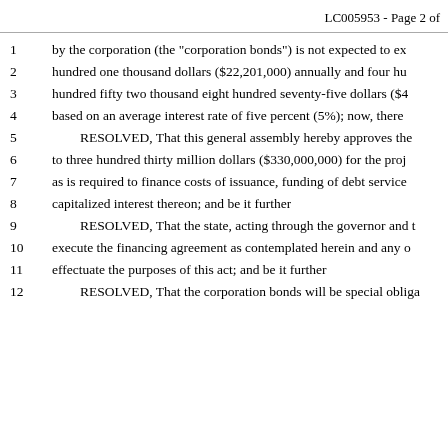LC005953 - Page 2 of
1   by the corporation (the "corporation bonds") is not expected to ex
2   hundred one thousand dollars ($22,201,000) annually and four hu
3   hundred fifty two thousand eight hundred seventy-five dollars ($4
4   based on an average interest rate of five percent (5%); now, there
5     RESOLVED, That this general assembly hereby approves the
6   to three hundred thirty million dollars ($330,000,000) for the proj
7   as is required to finance costs of issuance, funding of debt service
8   capitalized interest thereon; and be it further
9     RESOLVED, That the state, acting through the governor and t
10  execute the financing agreement as contemplated herein and any o
11  effectuate the purposes of this act; and be it further
12    RESOLVED, That the corporation bonds will be special obliga